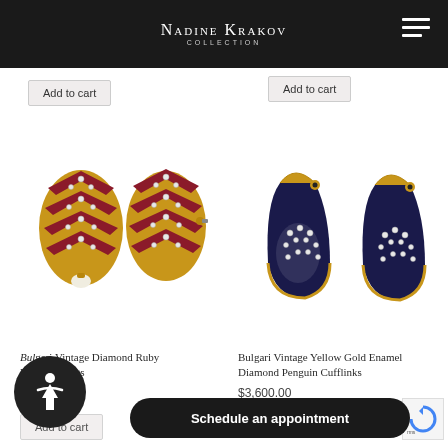Nadine Krakov Collection
Add to cart
Add to cart
[Figure (photo): Bulgari Vintage Diamond Ruby Hoop Earrings — pair of gold earrings with ruby and diamond chevron pattern]
[Figure (photo): Bulgari Vintage Yellow Gold Enamel Diamond Penguin Cufflinks — pair of penguin-shaped cufflinks in dark navy enamel and gold with diamonds]
Bulgari Vintage Diamond Ruby Hoop Earrings
Bulgari Vintage Yellow Gold Enamel Diamond Penguin Cufflinks
$3,600.00
Add to cart
Schedule an appointment